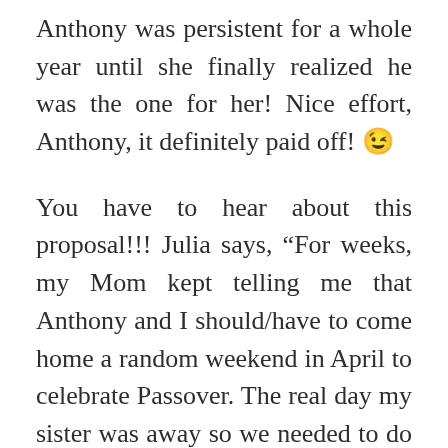Anthony was persistent for a whole year until she finally realized he was the one for her! Nice effort, Anthony, it definitely paid off! 😉
You have to hear about this proposal!!! Julia says, “For weeks, my Mom kept telling me that Anthony and I should/have to come home a random weekend in April to celebrate Passover. The real day my sister was away so we needed to do it again when she came